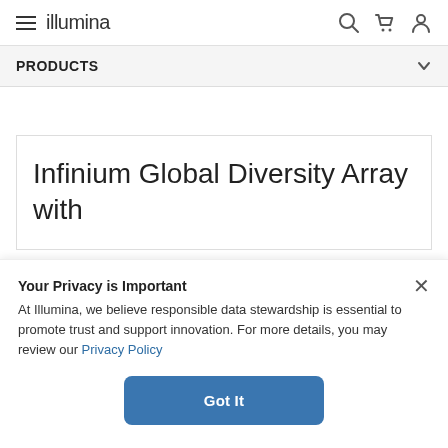illumina
PRODUCTS
Infinium Global Diversity Array with
Your Privacy is Important
At Illumina, we believe responsible data stewardship is essential to promote trust and support innovation. For more details, you may review our Privacy Policy
Got It